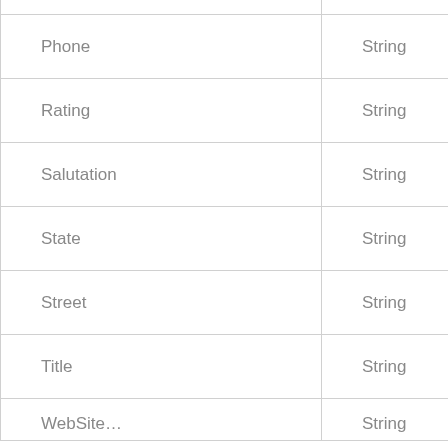| Phone | String |  |
| Rating | String |  |
| Salutation | String |  |
| State | String |  |
| Street | String |  |
| Title | String |  |
| WebSite… | String |  |